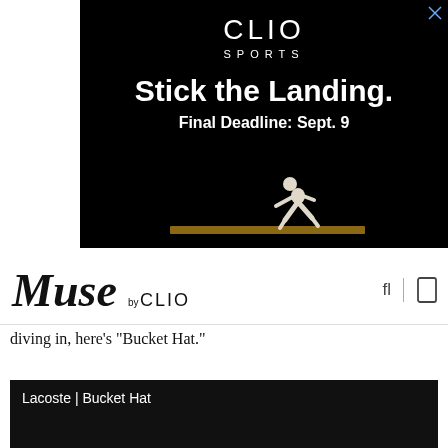[Figure (advertisement): Clio Sports advertisement on black background. Text reads 'CLIO SPORTS', 'Stick the Landing.', 'Final Deadline: Sept. 9'. Shows a gymnast on a balance beam.]
Muse by CLIO
diving in, here's "Bucket Hat."
[Figure (screenshot): Dark video embed with text: Lacoste | Bucket Hat]